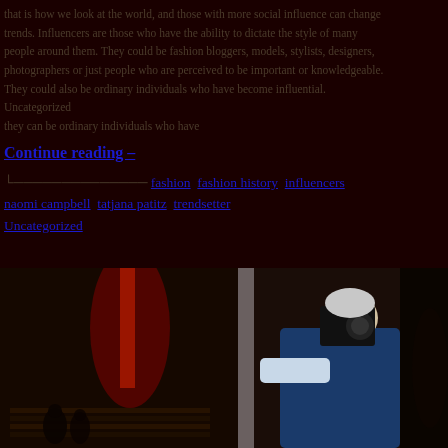that is how we look at the world, and those with more social influence can change trends. Influencers are those who have the ability to dictate the style of many people around them. They could be fashion bloggers, models, stylists, designers, photographers or just people who are perceived to be important or knowledgeable. Uncategorized they can be ordinary individuals who have become influential.
Continue reading →
fashion  fashion history  influencers  naomi campbell  tatjana patitz  trendsetter  Uncategorized
[Figure (photo): Photographer in a blue jacket holding a camera up to his face, taking a photo. Background shows an indoor venue with red lighting and people silhouetted.]